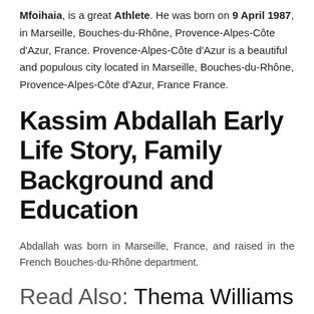Mfoihaia, is a great Athlete. He was born on 9 April 1987, in Marseille, Bouches-du-Rhône, Provence-Alpes-Côte d'Azur, France. Provence-Alpes-Côte d'Azur is a beautiful and populous city located in Marseille, Bouches-du-Rhône, Provence-Alpes-Côte d'Azur, France France.
Kassim Abdallah Early Life Story, Family Background and Education
Abdallah was born in Marseille, France, and raised in the French Bouches-du-Rhône department.
Read Also: Thema Williams Wiki, Biography, Age, Net Worth,